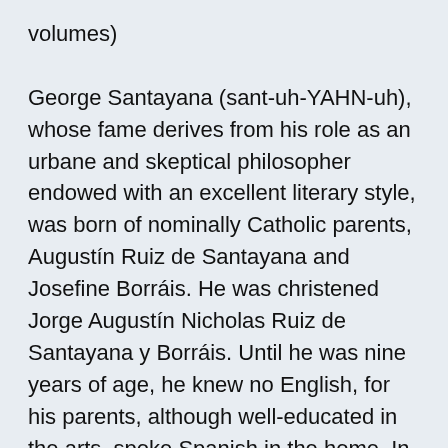volumes) George Santayana (sant-uh-YAHN-uh), whose fame derives from his role as an urbane and skeptical philosopher endowed with an excellent literary style, was born of nominally Catholic parents, Augustín Ruiz de Santayana and Josefine Borráis. He was christened Jorge Augustín Nicholas Ruiz de Santayana y Borráis. Until he was nine years of age, he knew no English, for his parents, although well-educated in the arts, spoke Spanish in the home. In 1872 Santayana's mother returned to the United States to fulfill an agreement with her former husband, George Sturgis, to educate the three Sturgis children in the United States. In 1872 George Santayana, then nine